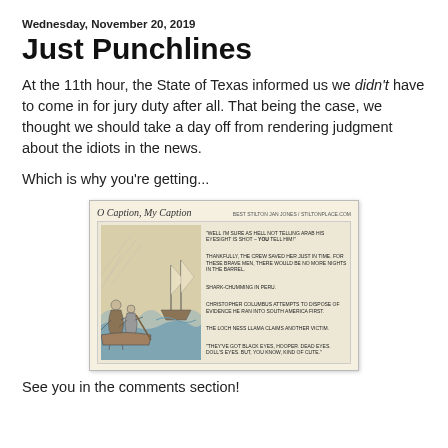Wednesday, November 20, 2019
Just Punchlines
At the 11th hour, the State of Texas informed us we didn't have to come in for jury duty after all. That being the case, we thought we should take a day off from rendering judgment about the idiots in the news.
Which is why you're getting...
[Figure (illustration): Comic strip titled 'O Caption, My Caption' showing a nautical scene with sailors in rough water and a sinking ship, with multiple humorous captions on the right side including references to shark-chumming in Peru, Christopher Columbus, the Loch Ness Llama, and a Jaws reference.]
See you in the comments section!